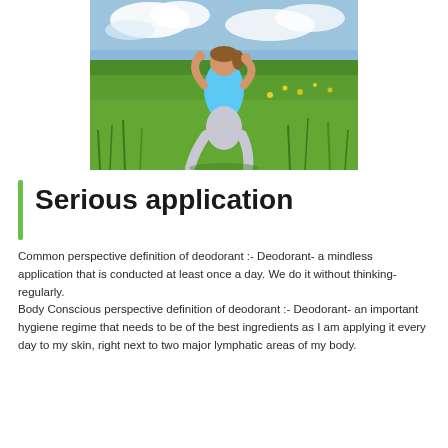[Figure (photo): Woman in a blue tank top stretching/exercising in a green meadow with wildflowers and cloudy sky in the background.]
Serious application
Common perspective definition of deodorant :- Deodorant- a mindless application that is conducted at least once a day. We do it without thinking- regularly.
Body Conscious perspective definition of deodorant :- Deodorant- an important hygiene regime that needs to be of the best ingredients as I am applying it every day to my skin, right next to two major lymphatic areas of my body.